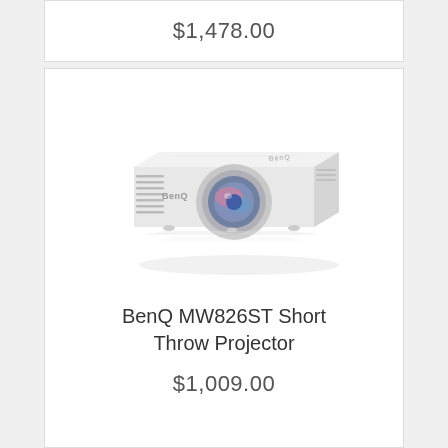$1,478.00
[Figure (photo): BenQ MW826ST Short Throw Projector — white projector unit shown in 3/4 angle view with BenQ branding, ventilation grilles on the left side, and a large wide-angle lens with silver/grey surround in the center-front. The projector casts a slight reflection below it.]
BenQ MW826ST Short Throw Projector
$1,009.00